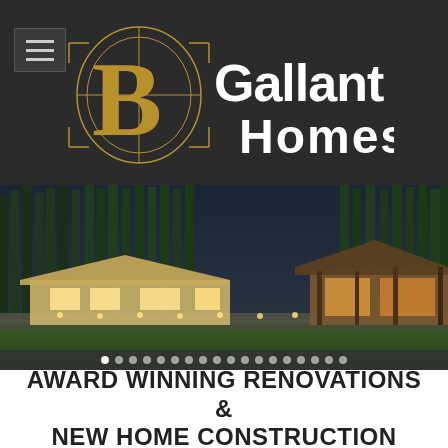[Figure (logo): B Gallant Homes logo — stylized letter B with circular geometric design in gold/bronze on dark background, with 'Gallant Homes' text in white]
[Figure (photo): Exterior twilight photograph of a custom home with attached garage/outbuilding, surrounded by tall evergreen trees on a large landscaped property with stone retaining walls and lawn]
AWARD WINNING RENOVATIONS & NEW HOME CONSTRUCTION